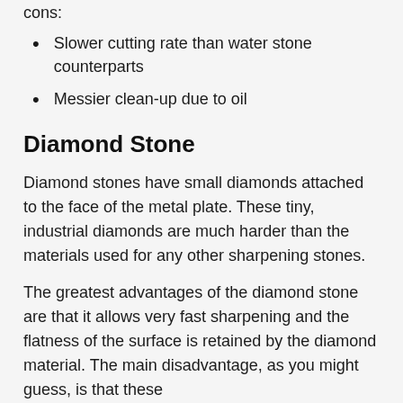cons:
Slower cutting rate than water stone counterparts
Messier clean-up due to oil
Diamond Stone
Diamond stones have small diamonds attached to the face of the metal plate. These tiny, industrial diamonds are much harder than the materials used for any other sharpening stones.
The greatest advantages of the diamond stone are that it allows very fast sharpening and the flatness of the surface is retained by the diamond material. The main disadvantage, as you might guess, is that these